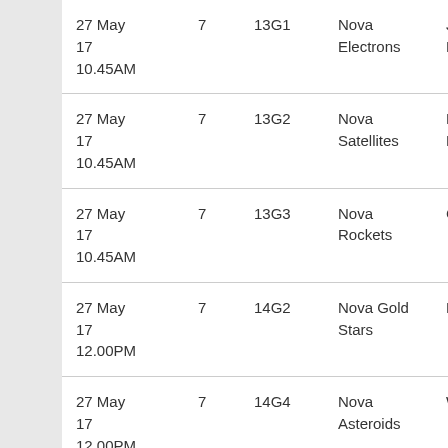| Date/Time | Age | Grade | Team 1 | Team 2 | Result |
| --- | --- | --- | --- | --- | --- |
| 27 May 17
10.45AM | 7 | 13G1 | Nova Electrons | Junction Hurricanes | L 3... |
| 27 May 17
10.45AM | 7 | 13G2 | Nova Satellites | M/Wall Bellbirds | L 3... |
| 27 May 17
10.45AM | 7 | 13G3 | Nova Rockets | Cardiff Aces | L 1... |
| 27 May 17
12.00PM | 7 | 14G2 | Nova Gold Stars | BNC Clovers | L 1... |
| 27 May 17
12.00PM | 7 | 14G4 | Nova Asteroids | W/L Tangoes | W 4... |
| 27 May 17 | 7 | 15G1 | Nova | Nova | L 2... |